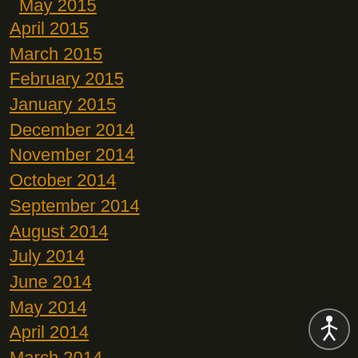May 2015
April 2015
March 2015
February 2015
January 2015
December 2014
November 2014
October 2014
September 2014
August 2014
July 2014
June 2014
May 2014
April 2014
March 2014
February 2014
January 2014
December 2013
[Figure (illustration): Accessibility icon: white circle with stylized human figure]